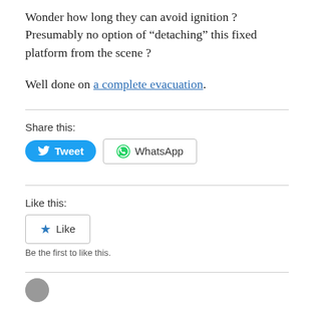Wonder how long they can avoid ignition ? Presumably no option of “detaching” this fixed platform from the scene ?
Well done on a complete evacuation.
Share this:
[Figure (infographic): Tweet button (blue rounded rectangle with Twitter bird icon) and WhatsApp button (outlined rectangle with WhatsApp icon)]
Like this:
[Figure (infographic): Like button with blue star icon and text 'Like']
Be the first to like this.